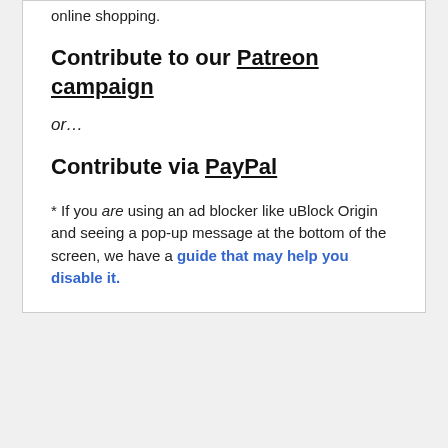online shopping.
Contribute to our Patreon campaign
or...
Contribute via PayPal
* If you are using an ad blocker like uBlock Origin and seeing a pop-up message at the bottom of the screen, we have a guide that may help you disable it.